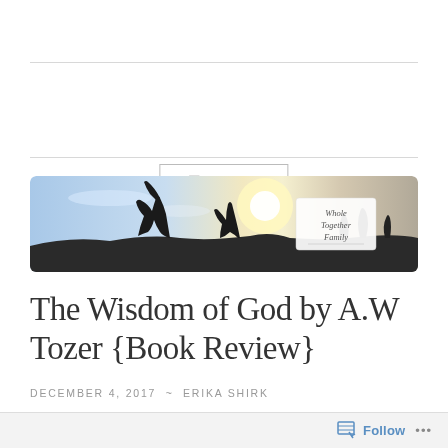≡ MENU
[Figure (photo): Banner photo showing silhouettes of people with arms raised against a bright sky/sunset, with a logo overlay reading 'Whole Together Family']
The Wisdom of God by A.W Tozer {Book Review}
DECEMBER 4, 2017 ~ ERIKA SHIRK
Follow ...